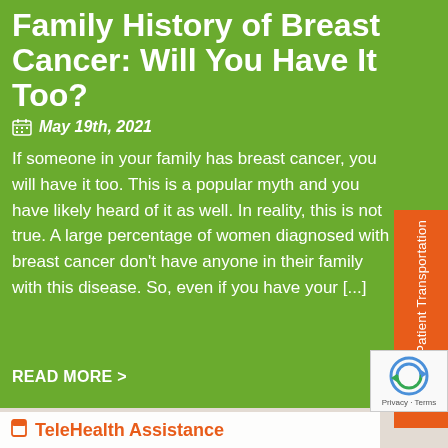Family History of Breast Cancer: Will You Have It Too?
May 19th, 2021
If someone in your family has breast cancer, you will have it too. This is a popular myth and you have likely heard of it as well. In reality, this is not true. A large percentage of women diagnosed with breast cancer don't have anyone in their family with this disease. So, even if you have your [...]
READ MORE >
[Figure (photo): Three women of different ages smiling together — a young woman, an elderly woman, and a young woman with red hair, photographed against a white brick wall background]
TeleHealth Assistance